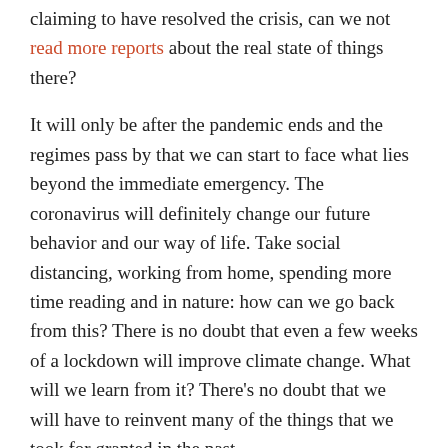claiming to have resolved the crisis, can we not read more reports about the real state of things there?
It will only be after the pandemic ends and the regimes pass by that we can start to face what lies beyond the immediate emergency. The coronavirus will definitely change our future behavior and our way of life. Take social distancing, working from home, spending more time reading and in nature: how can we go back from this? There is no doubt that even a few weeks of a lockdown will improve climate change. What will we learn from it? There's no doubt that we will have to reinvent many of the things that we took for granted in the past.
For the coming weeks, Worldcrunch will be delivering daily updates on the coronavirus global pandemic. Our network of multilingual journalists are busy finding out